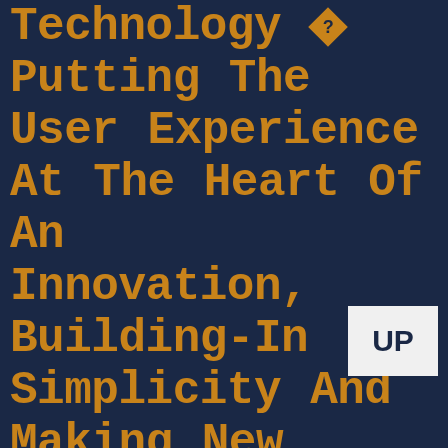Technology ◆? Putting The User Experience At The Heart Of An Innovation, Building-In Simplicity And Making New Technology More Accessible. Manufacturers To Define Meaningful Innovation, And To Deliver Products And Solutions That Improve Their Customers◆? Lives. Devices
[Figure (other): UP badge/button in light gray box]